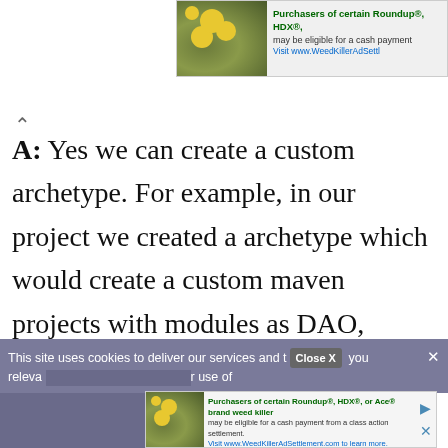[Figure (other): Advertisement banner for Roundup/HDX/Ace weed killer class action settlement. Shows green field with yellow flowers image on left; text: 'Purchasers of certain Roundup®, HDX®, may be eligible for a cash payment. Visit www.WeedKillerAdSettl...']
A: Yes we can create a custom archetype. For example, in our project we created a archetype which would create a custom maven projects with modules as DAO, SERVICE and WEB. These modules had the required dependencies. All project members used this archetype as it saved a lot of time and every one had same starting workspace.
This site uses cookies to deliver our services and t[...] you releva[nt...] r use of
[Figure (other): Advertisement for Roundup/HDX/Ace weed killer class action settlement shown in cookie banner area. Text: 'Purchasers of certain Roundup®, HDX®, or Ace® brand weed killer may be eligible for a cash payment from a class action settlement. Visit www.WeedKillerAdSettlement.com to learn more.']